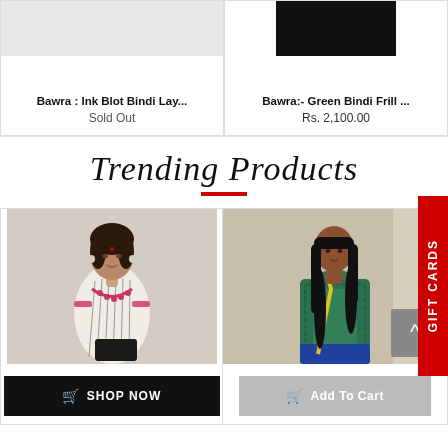Bawra : Ink Blot Bindi Lay...
Sold Out
Bawra:- Green Bindi Frill ...
Rs. 2,100.00
Trending Products
[Figure (photo): Woman in embroidered kurti with black clutch]
SHOP NOW
[Figure (photo): Young girl in green printed dress]
Add To Cart
GIFT CARDS